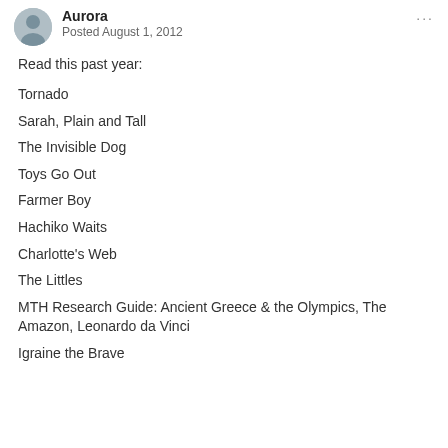Aurora
Posted August 1, 2012
Read this past year:
Tornado
Sarah, Plain and Tall
The Invisible Dog
Toys Go Out
Farmer Boy
Hachiko Waits
Charlotte's Web
The Littles
MTH Research Guide: Ancient Greece & the Olympics, The Amazon, Leonardo da Vinci
Igraine the Brave